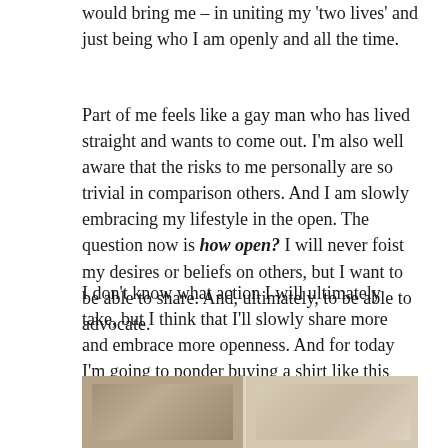would bring me – in uniting my 'two lives' and just being who I am openly and all the time.
Part of me feels like a gay man who has lived straight and wants to come out. I'm also well aware that the risks to me personally are so trivial in comparison others. And I am slowly embracing my lifestyle in the open. The question now is how open? I will never foist my desires or beliefs on others, but I want to be able to share. And, ultimately, to be able to advocate.
I don't know what action I will ultimately take, but I think that I'll slowly share more and embrace more openness. And for today I'm going to ponder buying a shirt like this and whether I'd actually wear it out to a vanilla function. I hope I will!
[Figure (photo): A photograph showing what appears to be an indoor setting, split into two panels side by side, with sepia/monochrome tones]